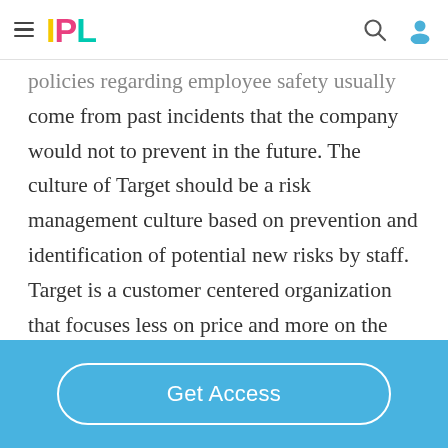IPL
policies regarding employee safety usually come from past incidents that the company would not to prevent in the future. The culture of Target should be a risk management culture based on prevention and identification of potential new risks by staff. Target is a customer centered organization that focuses less on price and more on the overall
Get Access